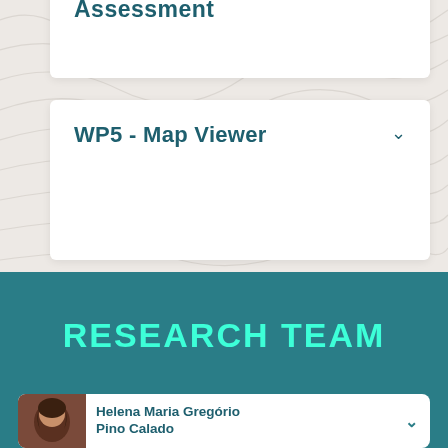Assessment
WP5 - Map Viewer
RESEARCH TEAM
Helena Maria Gregório Pino Calado